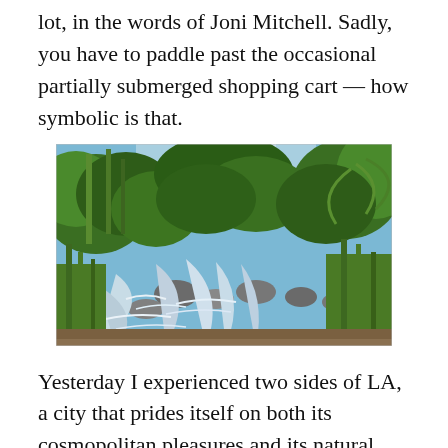lot, in the words of Joni Mitchell. Sadly, you have to paddle past the occasional partially submerged shopping cart — how symbolic is that.
[Figure (photo): A photograph of a river or stream flowing through dense green vegetation, including bamboo, reeds, and palm trees. The water appears turbulent with rocks visible. Bright blue sky visible through the tree canopy at the top.]
Yesterday I experienced two sides of LA, a city that prides itself on both its cosmopolitan pleasures and its natural beauty. As someone who has always prided herself on being both a town and a country mouse, I appreciated